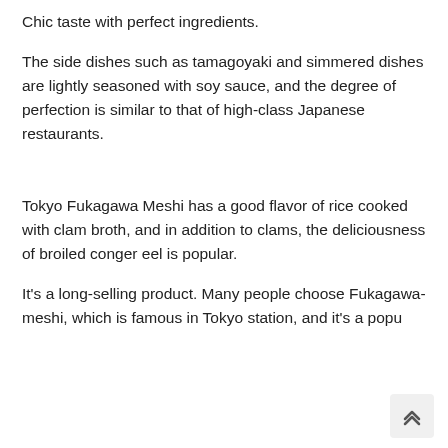Chic taste with perfect ingredients.
The side dishes such as tamagoyaki and simmered dishes are lightly seasoned with soy sauce, and the degree of perfection is similar to that of high-class Japanese restaurants.
Tokyo Fukagawa Meshi has a good flavor of rice cooked with clam broth, and in addition to clams, the deliciousness of broiled conger eel is popular.
It's a long-selling product. Many people choose Fukagawa-meshi, which is famous in Tokyo station, and it's a popu...